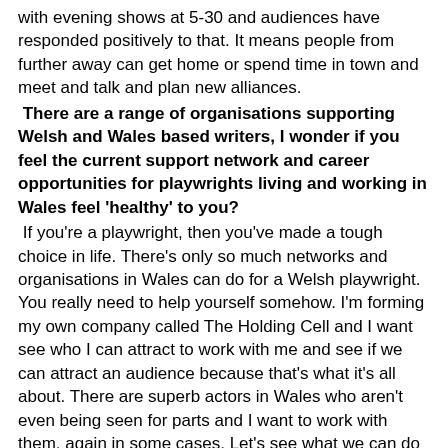with evening shows at 5-30 and audiences have responded positively to that. It means people from further away can get home or spend time in town and meet and talk and plan new alliances.
There are a range of organisations supporting Welsh and Wales based writers, I wonder if you feel the current support network and career opportunities for playwrights living and working in Wales feel 'healthy' to you?
If you're a playwright, then you've made a tough choice in life. There's only so much networks and organisations in Wales can do for a Welsh playwright. You really need to help yourself somehow. I'm forming my own company called The Holding Cell and I want see who I can attract to work with me and see if we can attract an audience because that's what it's all about. There are superb actors in Wales who aren't even being seen for parts and I want to work with them, again in some cases. Let's see what we can do for ourselves.
If you were able to fund an area of the arts in Wales what would this be and why?